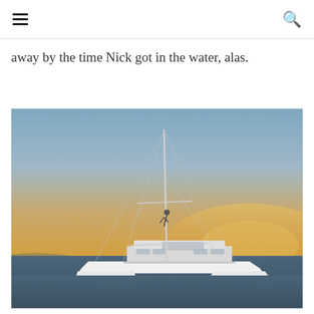away by the time Nick got in the water, alas.
[Figure (photo): A white catamaran sailboat on calm ocean water at sunset/dusk. The sky is clear with warm golden and blue hues. A person appears to be climbing or hanging from the mast rigging. The boat is viewed from the side.]